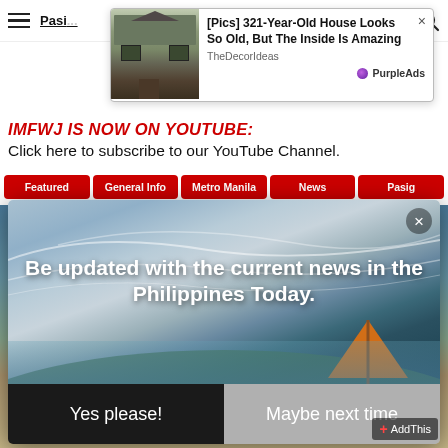≡  Pasi...
[Figure (screenshot): Ad banner showing an old house with text '[Pics] 321-Year-Old House Looks So Old, But The Inside Is Amazing' from TheDecorIdeas, with PurpleAds label]
IMFWJ IS NOW ON YOUTUBE:
Click here to subscribe to our YouTube Channel.
Featured
General Info
Metro Manila
News
Pasig
[Figure (screenshot): Modal popup overlay with sky/beach landscape photo, orange umbrella visible, text 'Be updated with the current news in the Philippines Today.' with two buttons: 'Yes please!' (dark) and 'Maybe next time' (gray). X close button in top right. AddThis badge bottom right.]